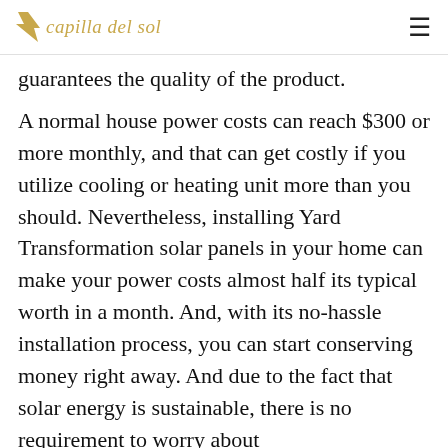capilla del sol
guarantees the quality of the product.
A normal house power costs can reach $300 or more monthly, and that can get costly if you utilize cooling or heating unit more than you should. Nevertheless, installing Yard Transformation solar panels in your home can make your power costs almost half its typical worth in a month. And, with its no-hassle installation process, you can start conserving money right away. And due to the fact that solar energy is sustainable, there is no requirement to worry about